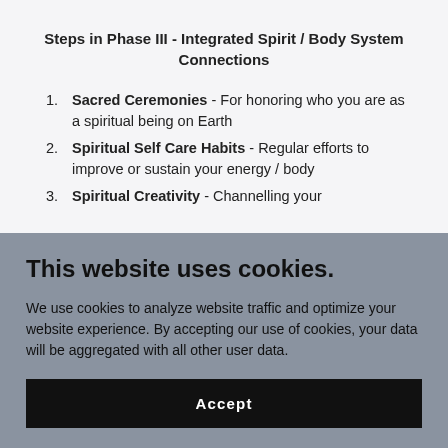Steps in Phase III - Integrated Spirit / Body System Connections
Sacred Ceremonies - For honoring who you are as a spiritual being on Earth
Spiritual Self Care Habits - Regular efforts to improve or sustain your energy / body
Spiritual Creativity - Channelling your
This website uses cookies.
We use cookies to analyze website traffic and optimize your website experience. By accepting our use of cookies, your data will be aggregated with all other user data.
Accept